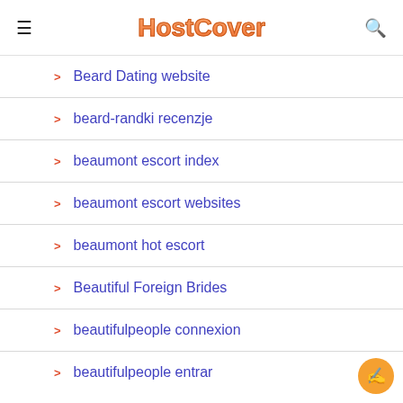HostCover
Beard Dating website
beard-randki recenzje
beaumont escort index
beaumont escort websites
beaumont hot escort
Beautiful Foreign Brides
beautifulpeople connexion
beautifulpeople entrar